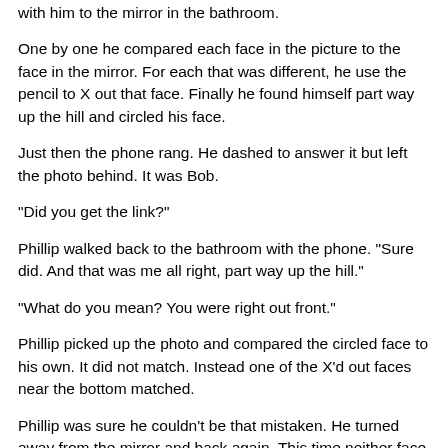with him to the mirror in the bathroom.
One by one he compared each face in the picture to the face in the mirror. For each that was different, he use the pencil to X out that face. Finally he found himself part way up the hill and circled his face.
Just then the phone rang. He dashed to answer it but left the photo behind. It was Bob.
"Did you get the link?"
Phillip walked back to the bathroom with the phone. "Sure did. And that was me all right, part way up the hill."
"What do you mean? You were right out front."
Phillip picked up the photo and compared the circled face to his own. It did not match. Instead one of the X'd out faces near the bottom matched.
Phillip was sure he couldn't be that mistaken. He turned away from the mirror and back again. This time neither face matched, but a face far up the hill matched.